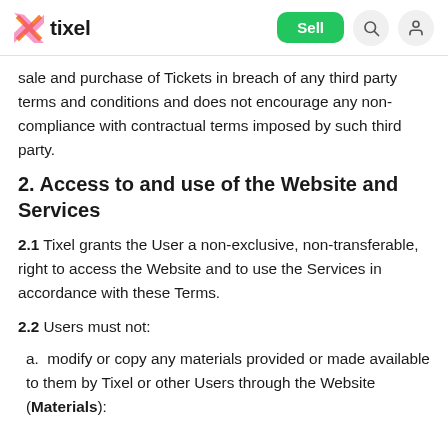tixel — Sell
sale and purchase of Tickets in breach of any third party terms and conditions and does not encourage any non-compliance with contractual terms imposed by such third party.
2. Access to and use of the Website and Services
2.1 Tixel grants the User a non-exclusive, non-transferable, right to access the Website and to use the Services in accordance with these Terms.
2.2 Users must not:
a. modify or copy any materials provided or made available to them by Tixel or other Users through the Website (Materials):